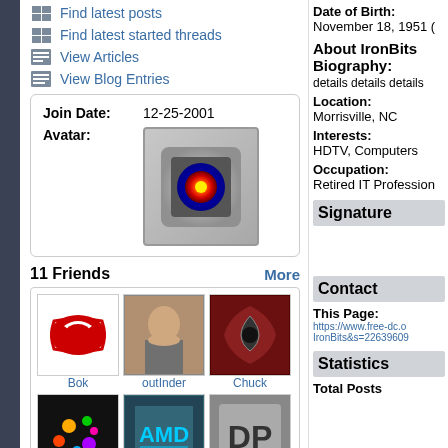Find latest posts
Find latest started threads
View Articles
View Blog Entries
Join Date: 12-25-2001
Avatar:
[Figure (illustration): User avatar icon with orange/red glowing circle on metallic background]
11 Friends More
[Figure (photo): Friend avatar: Bok - Carolina Hurricanes logo]
[Figure (photo): Friend avatar: outInder - person photo]
[Figure (photo): Friend avatar: Chuck - dark red symbol]
[Figure (photo): Friend avatar: PCZ - colorful abstract]
[Figure (photo): Friend avatar: matrix_fan - AMD styled image]
[Figure (photo): Friend avatar: Darkness - DP block letter]
Date of Birth:
November 18, 1951 (
About IronBits Biography:
details details details
Location:
Morrisville, NC
Interests:
HDTV, Computers
Occupation:
Retired IT Profession
Signature
Contact
This Page:
https://www.free-dc.o IronBits&s=22639609
Statistics
Total Posts